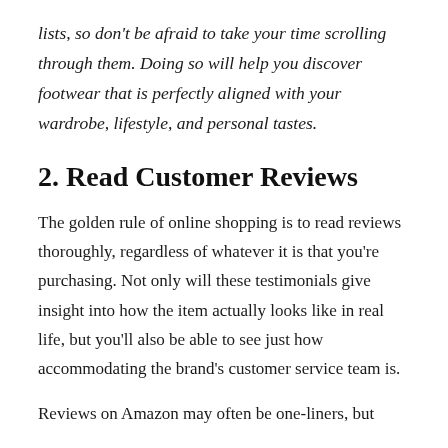lists, so don’t be afraid to take your time scrolling through them. Doing so will help you discover footwear that is perfectly aligned with your wardrobe, lifestyle, and personal tastes.
2. Read Customer Reviews
The golden rule of online shopping is to read reviews thoroughly, regardless of whatever it is that you’re purchasing. Not only will these testimonials give insight into how the item actually looks like in real life, but you’ll also be able to see just how accommodating the brand’s customer service team is.
Reviews on Amazon may often be one-liners, but